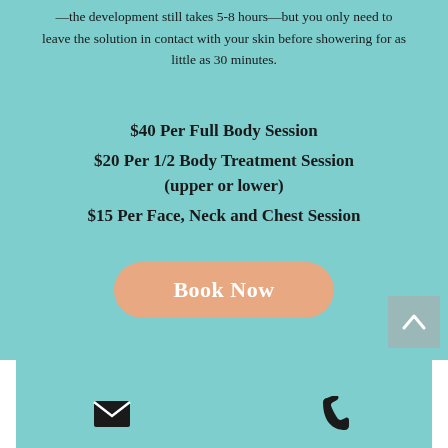—the development still takes 5-8 hours—but you only need to leave the solution in contact with your skin before showering for as little as 30 minutes.
$40 Per Full Body Session
$20 Per 1/2 Body Treatment Session (upper or lower)
$15 Per Face, Neck and Chest Session
Book Now
READY TO START GLOWING?
[Figure (illustration): Email icon (envelope) and phone icon in black]